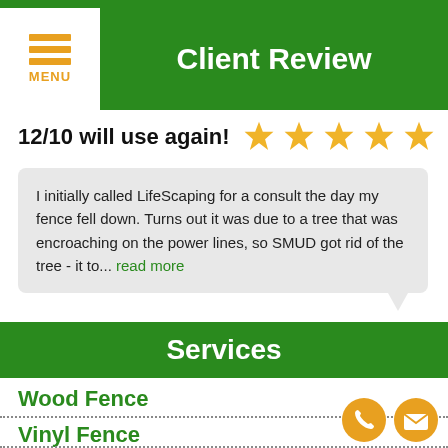Client Review
12/10 will use again!
I initially called LifeScaping for a consult the day my fence fell down. Turns out it was due to a tree that was encroaching on the power lines, so SMUD got rid of the tree - it to... read more
- Chealsea Thrush
Services
Wood Fence
Vinyl Fence